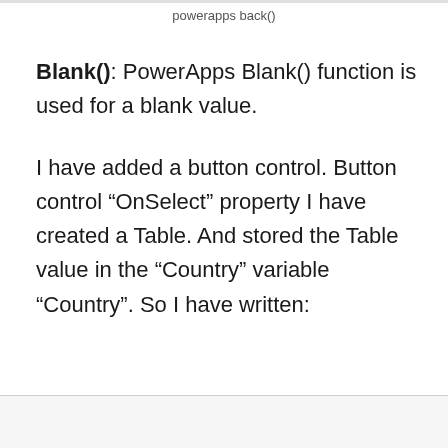powerapps back()
Blank(): PowerApps Blank() function is used for a blank value.
I have added a button control. Button control “OnSelect” property I have created a Table. And stored the Table value in the “Country” variable “Country”. So I have written: